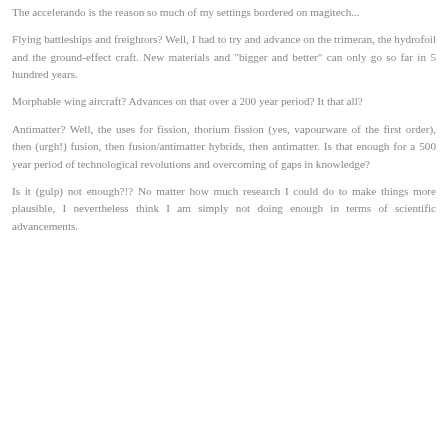The accelerando is the reason so much of my settings bordered on magitech...
Flying battleships and freightors? Well, I had to try and advance on the trimeran, the hydrofoil and the ground-effect craft. New materials and "bigger and better" can only go so far in 5 hundred years.
Morphable wing aircraft? Advances on that over a 200 year period? It that all?
Antimatter? Well, the uses for fission, thorium fission (yes, vapourware of the first order), then (urgh!) fusion, then fusion/antimatter hybrids, then antimatter. Is that enough for a 500 year period of technological revolutions and overcoming of gaps in knowledge?
Is it (gulp) not enough?!? No matter how much research I could do to make things more plausible, I nevertheless think I am simply not doing enough in terms of scientific advancements.